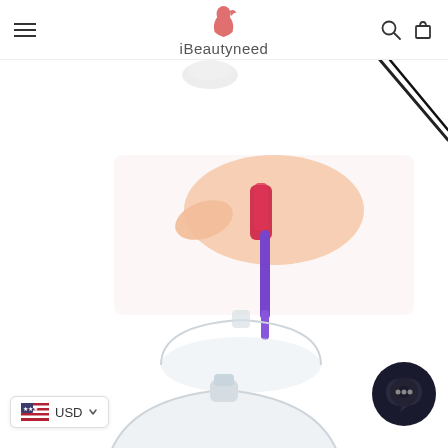iBeautyneed — navigation header with hamburger menu, logo, search and cart icons
[Figure (photo): Partial product image at top — white circular container and black cord/wire visible on white background]
[Figure (photo): Hand holding a purple silicone tool/stick over a transparent dome-shaped container, with red/purple color element visible between fingers]
[Figure (photo): Bottom portion of a transparent dome-shaped cupping device on white background]
USD
[Figure (other): Chat widget icon — dark circular chat bubble icon in bottom right corner]